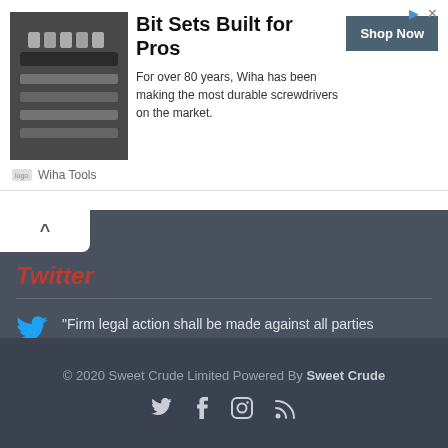[Figure (screenshot): Advertisement banner for Wiha Tools showing a tool set image, headline 'Bit Sets Built for Pros', descriptive text, and a 'Shop Now' button]
Twitter
“Firm legal action shall be made against all parties involved, in order to block loadings of those unlawful cargoes... https://t.co/Idbw8aRqyE
© 2020 Sweet Crude Limited Powered By Sweet Crude